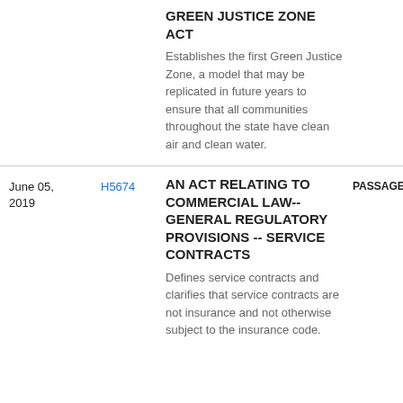GREEN JUSTICE ZONE ACT
Establishes the first Green Justice Zone, a model that may be replicated in future years to ensure that all communities throughout the state have clean air and clean water.
| Date | Bill | Title | Status |
| --- | --- | --- | --- |
| June 05, 2019 | H5674 | AN ACT RELATING TO COMMERCIAL LAW-- GENERAL REGULATORY PROVISIONS -- SERVICE CONTRACTS | PASSAGE |
|  |  | Defines service contracts and clarifies that service contracts are not insurance and not otherwise subject to the insurance code. |  |